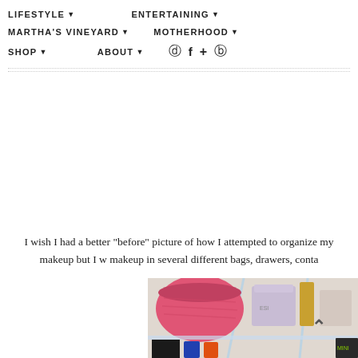LIFESTYLE ▾   ENTERTAINING ▾   MARTHA'S VINEYARD ▾   MOTHERHOOD ▾   SHOP ▾   ABOUT ▾
[Figure (photo): Dark photo of a makeup drawer or organizer, close-up shot showing dark metallic surfaces]
I wish I had a better "before" picture of how I attempted to organize my makeup but I w makeup in several different bags, drawers, conta
[Figure (photo): Photo of a clear acrylic makeup organizer with a pink woven bag/bowl, cream jars, gold cosmetics, and makeup products on lower shelf]